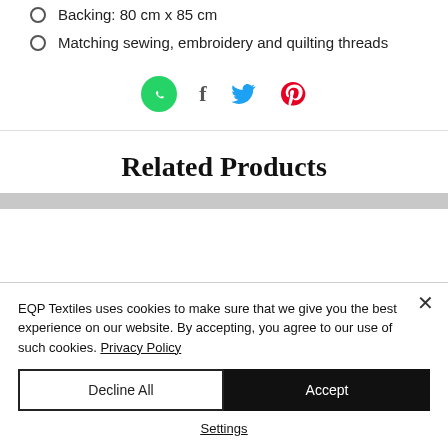Backing: 80 cm x 85 cm
Matching sewing, embroidery and quilting threads
[Figure (infographic): Social sharing icons: WhatsApp (green circle), Facebook (f), Twitter (bird), Pinterest (P)]
Related Products
EQP Textiles uses cookies to make sure that we give you the best experience on our website. By accepting, you agree to our use of such cookies. Privacy Policy
Decline All | Accept
Settings